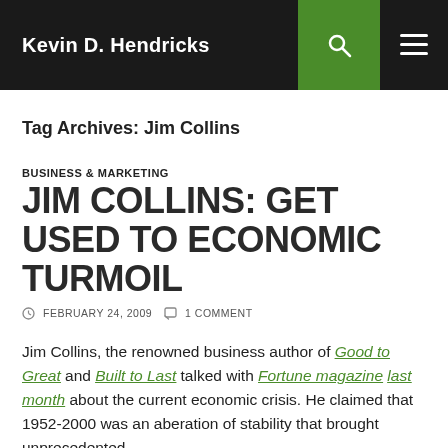Kevin D. Hendricks
Tag Archives: Jim Collins
BUSINESS & MARKETING
JIM COLLINS: GET USED TO ECONOMIC TURMOIL
FEBRUARY 24, 2009  1 COMMENT
Jim Collins, the renowned business author of Good to Great and Built to Last talked with Fortune magazine last month about the current economic crisis. He claimed that 1952-2000 was an aberation of stability that brought unprecedented